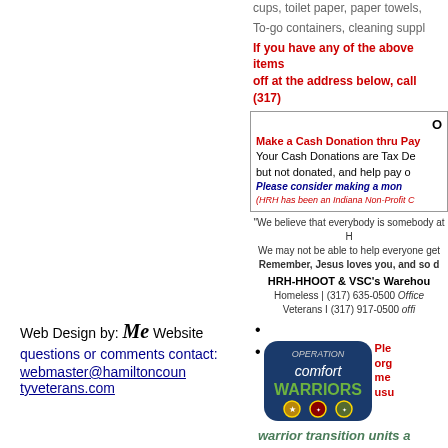cups, toilet paper, paper towels, To-go containers, cleaning suppl...
If you have any of the above items... off at the address below, call (317)...
Make a Cash Donation thru Pay... Your Cash Donations are Tax De... but not donated, and help pay o... Please consider making a mon... (HRH has been an Indiana Non-Profit C...
"We believe that everybody is somebody at H... We may not be able to help everyone get... Remember, Jesus loves you, and so d...
HRH-HHOOT & VSC's Warehou... Homeless | (317) 635-0500 Offic... Veterans I (317) 917-0500 offi...
Web Design by: Me Website questions or comments contact: webmaster@hamiltoncountyveterans.com
[Figure (logo): Operation Comfort Warriors logo - blue rounded rectangle with green text 'comfort WARRIORS' and military medallions]
Please... org... me... usu... warrior transition units a... more. OCW also provide... other recreational goods...
[Figure (logo): INDY HONOR FL... circular logo]